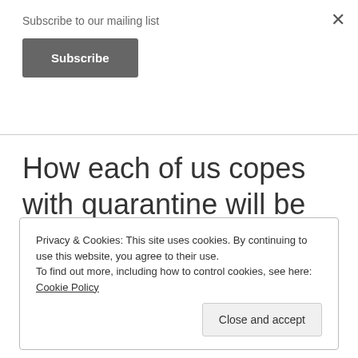Subscribe to our mailing list
Subscribe
How each of us copes with quarantine will be different. You have to figure out what works for you
Privacy & Cookies: This site uses cookies. By continuing to use this website, you agree to their use. To find out more, including how to control cookies, see here: Cookie Policy
Close and accept